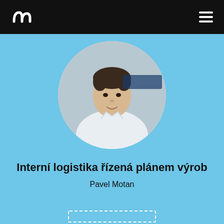Unwired logo and navigation
[Figure (photo): Circular portrait photo of a man in a white shirt, leaning forward on a light blue background]
Interní logistika řízená plánem výrob
Pavel Motan
[Figure (other): Dashed rectangle outline at the bottom of the page]